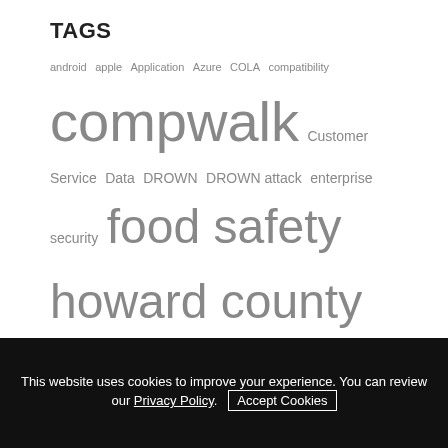TAGS
[Figure (infographic): A tag cloud containing words of varying sizes indicating frequency/importance: android, apple, Application, Azure, COLA, compatibility (small); compwalk (large); Customer Service, Data, DROWN (medium); DROWN attack, enterprise security (medium); food safety (extra large); howard county (extra large); HTML5, HTTPS, iOS, iOS 9 (medium); Microsoft (very large); microsoft bizspark (medium); Mobile (very large); mobile-friendliness (medium); mobile-friendly (very large); Mobilegeddon (medium); mobile responsive (extra large); mobile security, Network (medium); NextLOGiK (very large); optimize for mobile (medium); responsive design (extra large); security, SERP, Spatial, SSL+0 (partially visible, small)]
This website uses cookies to improve your experience. You can review our Privacy Policy. Accept Cookies